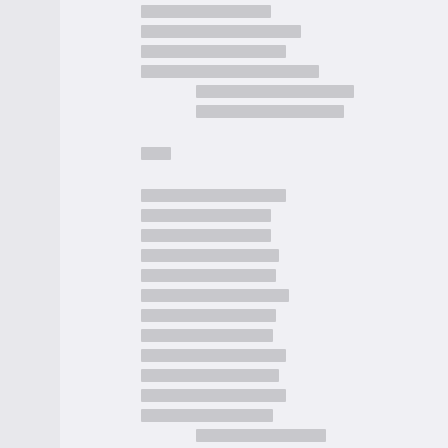[redacted text lines - document content obscured]